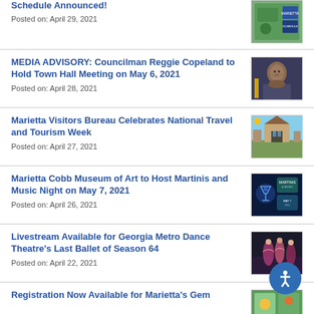Schedule Announced!
Posted on: April 29, 2021
[Figure (photo): Green outdoor/park event schedule image]
MEDIA ADVISORY: Councilman Reggie Copeland to Hold Town Hall Meeting on May 6, 2021
Posted on: April 28, 2021
[Figure (photo): Portrait photo of Councilman Reggie Copeland]
Marietta Visitors Bureau Celebrates National Travel and Tourism Week
Posted on: April 27, 2021
[Figure (photo): Outdoor building/tourism landmark photo]
Marietta Cobb Museum of Art to Host Martinis and Music Night on May 7, 2021
Posted on: April 26, 2021
[Figure (photo): Event promo image for Martinis and Music Night]
Livestream Available for Georgia Metro Dance Theatre's Last Ballet of Season 64
Posted on: April 22, 2021
[Figure (photo): Ballet dancers performance photo]
Registration Now Available for Marietta's Gem